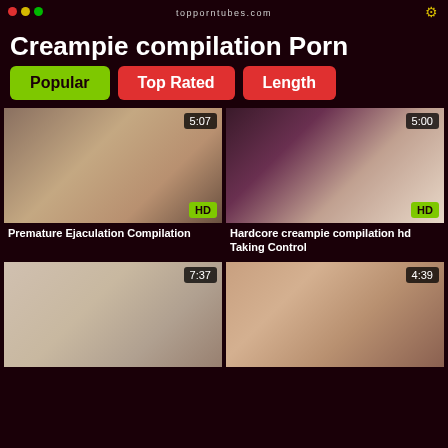topporntubes.com
Creampie compilation Porn
Popular | Top Rated | Length
[Figure (photo): Video thumbnail 1 - duration 5:07, HD badge]
Premature Ejaculation Compilation
[Figure (photo): Video thumbnail 2 - duration 5:00, HD badge]
Hardcore creampie compilation hd Taking Control
[Figure (photo): Video thumbnail 3 - duration 7:37]
[Figure (photo): Video thumbnail 4 - duration 4:39]